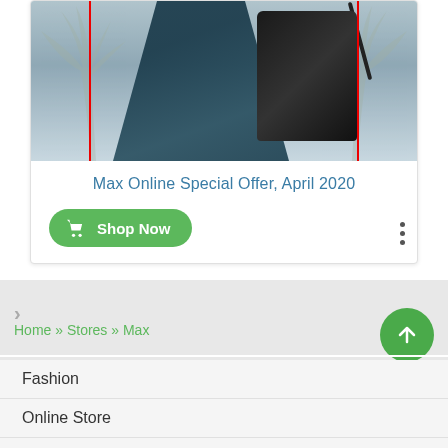[Figure (photo): Max Online Special Offer promotional card showing fashion dress and handbag with palm tree background]
Max Online Special Offer, April 2020
Shop Now
Home » Stores » Max
Fashion
Online Store
Re...